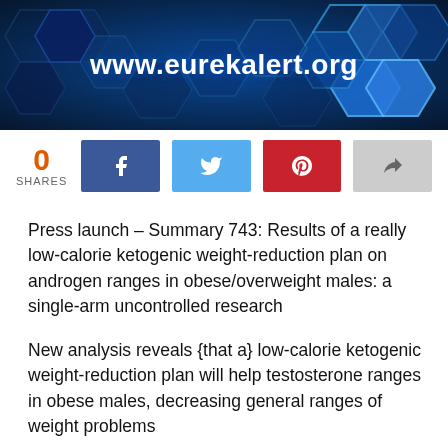[Figure (illustration): EurekaAlert website header banner with blue hexagonal pattern background and white bold text reading www.eurekalert.org]
0 SHARES
[Figure (infographic): Social share buttons row: Facebook (dark blue), Twitter (light blue), Pinterest (red), Share (grey)]
Press launch – Summary 743: Results of a really low-calorie ketogenic weight-reduction plan on androgen ranges in obese/overweight males: a single-arm uncontrolled research
New analysis reveals {that a} low-calorie ketogenic weight-reduction plan will help testosterone ranges in obese males, decreasing general ranges of weight problems